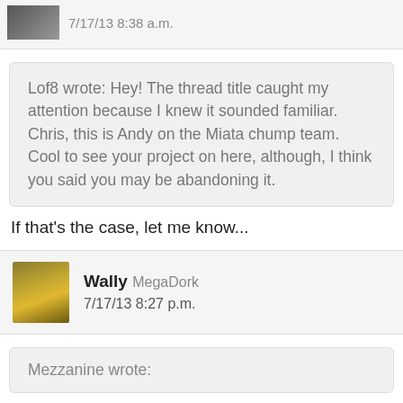[Figure (photo): Partial view of a user avatar photo (cropped at top) with timestamp 7/17/13 8:38 a.m.]
Lof8 wrote: Hey! The thread title caught my attention because I knew it sounded familiar. Chris, this is Andy on the Miata chump team. Cool to see your project on here, although, I think you said you may be abandoning it.
If that's the case, let me know...
[Figure (photo): Profile photo of Wally — two people visible, yellow/green jacket]
Wally MegaDork 7/17/13 8:27 p.m.
Mezzanine wrote: